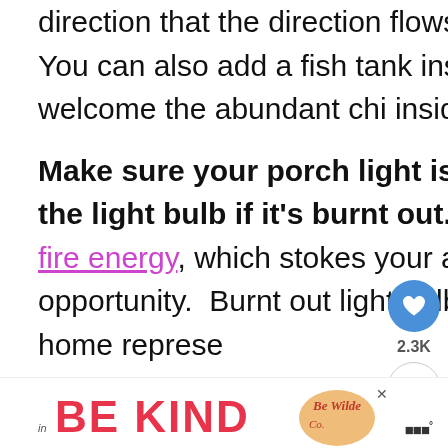direction that the direction flows towards your home.  You can also add a fish tank inside your entryway to welcome the abundant chi inside.
Make sure your porch light is working and replace the light bulb if it's burnt out.  Light bulbs represent fire energy, which stokes your abundance and opportunity.  Burnt out light bulbs anywhere in your home represent stagnant energy – but they are especially in
[Figure (screenshot): Social media UI overlay with heart/like button showing 2.3K count and share button]
[Figure (screenshot): What's Next panel showing thumbnail image and text 'creating a feng shui...']
[Figure (infographic): Advertisement banner with BE KIND text in red and decorative script graphic]